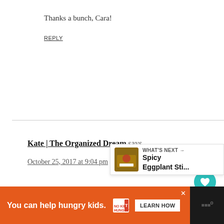Thanks a bunch, Cara!
REPLY
Kate | The Organized Dream says
October 25, 2017 at 9:04 pm
This looks like something I would really like to try. I'm going to add this to my meal plan and see if my family likes it! Thanks!
REPLY
[Figure (other): Heart/like button (teal circular icon with heart symbol) and share button (light gray circular icon with share symbol)]
WHAT'S NEXT → Spicy Eggplant Sti...
You can help hungry kids. NO KID HUNGRY LEARN HOW